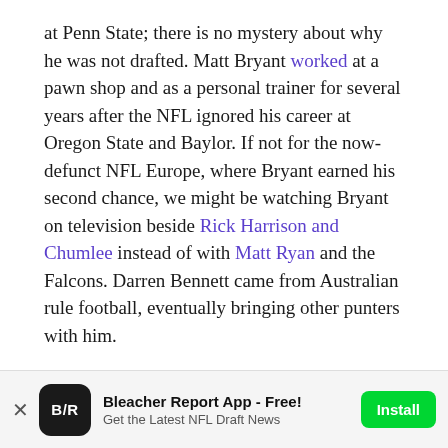at Penn State; there is no mystery about why he was not drafted. Matt Bryant worked at a pawn shop and as a personal trainer for several years after the NFL ignored his career at Oregon State and Baylor. If not for the now-defunct NFL Europe, where Bryant earned his second chance, we might be watching Bryant on television beside Rick Harrison and Chumlee instead of with Matt Ryan and the Falcons. Darren Bennett came from Australian rule football, eventually bringing other punters with him.
When even the experts make mistakes, what chance does the editor of a draft magazine have of evaluating a guy who misses nearly half his field goals, has been out of the NFL for two years or starred for the Essendon Bombers?
Bleacher Report App - Free! Get the Latest NFL Draft News [Install]